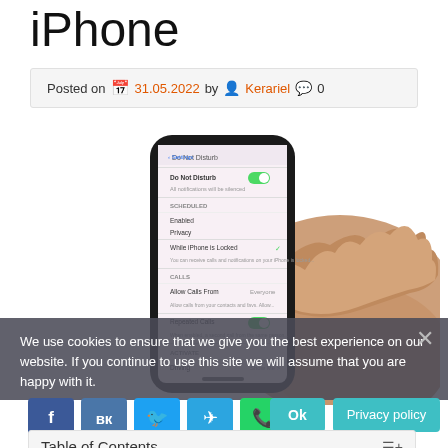iPhone
Posted on 31.05.2022 by Kerariel 0
[Figure (photo): Hand holding an iPhone showing Do Not Disturb settings screen with toggles for Do Not Disturb, Scheduled, Silence, Privacy, Recurring Calls options]
We use cookies to ensure that we give you the best experience on our website. If you continue to use this site we will assume that you are happy with it.
Ok  Privacy policy
Table of Contents